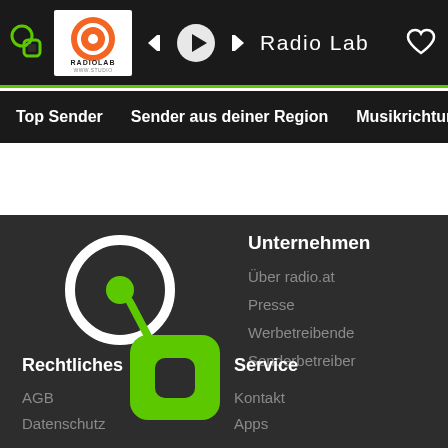Radio Lab — top navigation bar with logo, play controls, station name, and heart icon
Top Sender | Sender aus deiner Region | Musikrichtungen | T…
[Figure (logo): radio.at footer logo: white circle with green dot and green square letter 'b' shape]
Unternehmen
Über radio.at
Presse
Werbetreibende
Senderbetreiber
Rechtliches
Service
AGB
Kontakt
Datenschutz
Apps